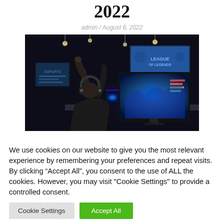2022
admin / August 6, 2022
[Figure (photo): A gamer with headphones raised in the air, seated at a gaming PC with a glowing monitor, at what appears to be an esports event with screens in the background.]
We use cookies on our website to give you the most relevant experience by remembering your preferences and repeat visits. By clicking “Accept All”, you consent to the use of ALL the cookies. However, you may visit "Cookie Settings" to provide a controlled consent.
Cookie Settings   Accept All